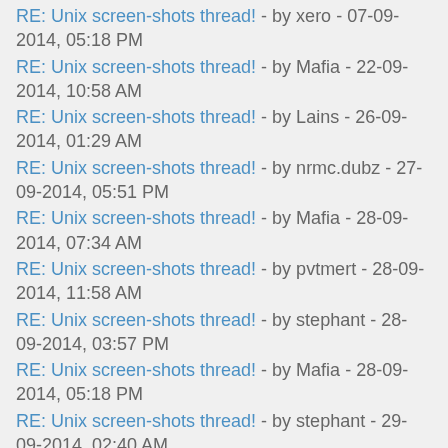RE: Unix screen-shots thread! - by xero - 07-09-2014, 05:18 PM
RE: Unix screen-shots thread! - by Mafia - 22-09-2014, 10:58 AM
RE: Unix screen-shots thread! - by Lains - 26-09-2014, 01:29 AM
RE: Unix screen-shots thread! - by nrmc.dubz - 27-09-2014, 05:51 PM
RE: Unix screen-shots thread! - by Mafia - 28-09-2014, 07:34 AM
RE: Unix screen-shots thread! - by pvtmert - 28-09-2014, 11:58 AM
RE: Unix screen-shots thread! - by stephant - 28-09-2014, 03:57 PM
RE: Unix screen-shots thread! - by Mafia - 28-09-2014, 05:18 PM
RE: Unix screen-shots thread! - by stephant - 29-09-2014, 02:40 AM
RE: Unix screen-shots thread! - by zr0 - 03-10-2014, 06:06 PM
RE: Unix screen-shots thread! - by projektile - 10-10-2014,